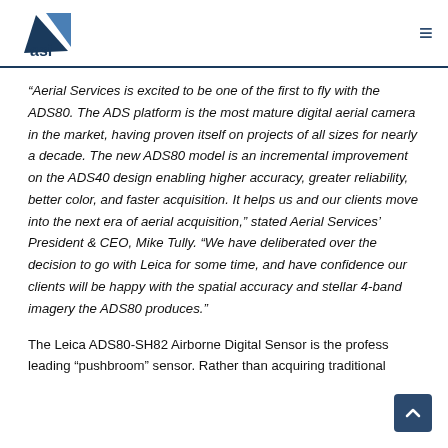ASI logo and navigation
“Aerial Services is excited to be one of the first to fly with the ADS80. The ADS platform is the most mature digital aerial camera in the market, having proven itself on projects of all sizes for nearly a decade. The new ADS80 model is an incremental improvement on the ADS40 design enabling higher accuracy, greater reliability, better color, and faster acquisition. It helps us and our clients move into the next era of aerial acquisition,” stated Aerial Services’ President & CEO, Mike Tully. “We have deliberated over the decision to go with Leica for some time, and have confidence our clients will be happy with the spatial accuracy and stellar 4-band imagery the ADS80 produces.”
The Leica ADS80-SH82 Airborne Digital Sensor is the profes…s leading “pushbroom” sensor. Rather than acquiring traditional